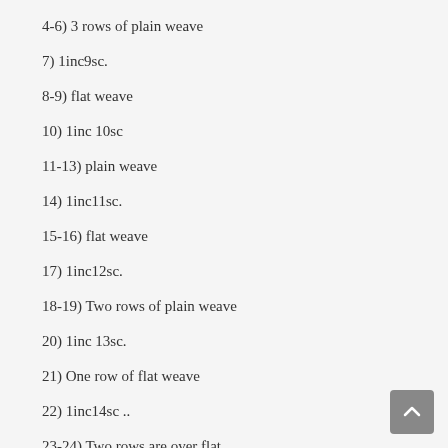4-6) 3 rows of plain weave
7) 1inc9sc.
8-9) flat weave
10) 1inc 10sc
11-13) plain weave
14) 1inc11sc.
15-16) flat weave
17) 1inc12sc.
18-19) Two rows of plain weave
20) 1inc 13sc.
21) One row of flat weave
22) 1inc14sc ..
23-24) Two rows are over flat.
Leave long rope to sew